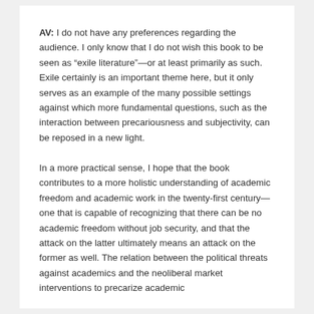AV: I do not have any preferences regarding the audience. I only know that I do not wish this book to be seen as “exile literature”—or at least primarily as such. Exile certainly is an important theme here, but it only serves as an example of the many possible settings against which more fundamental questions, such as the interaction between precariousness and subjectivity, can be reposed in a new light.
In a more practical sense, I hope that the book contributes to a more holistic understanding of academic freedom and academic work in the twenty-first century—one that is capable of recognizing that there can be no academic freedom without job security, and that the attack on the latter ultimately means an attack on the former as well. The relation between the political threats against academics and the neoliberal market interventions to precarize academic